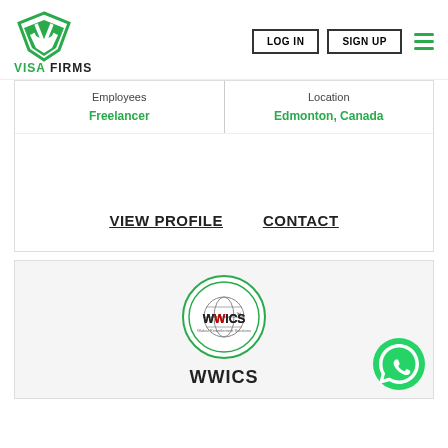VISA FIRMS — LOG IN | SIGN UP
Employees
Freelancer
Location
Edmonton, Canada
VIEW PROFILE   CONTACT
[Figure (logo): WWICS circular logo with globe icon and tagline 'Global Resettlement Solutions']
WWICS